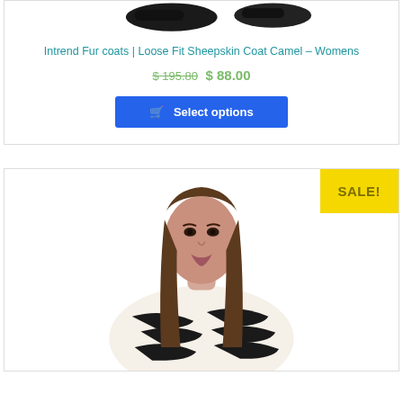[Figure (photo): Partial product image showing two dark-colored shoes at the top of a product card]
Intrend Fur coats | Loose Fit Sheepskin Coat Camel – Womens
$ 195.80 $ 88.00
Select options
[Figure (photo): Young woman with brown hair wearing a black and white zebra print fur coat, with a yellow SALE! badge in the top right corner]